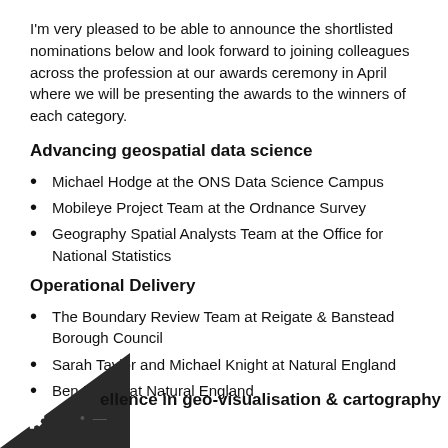I'm very pleased to be able to announce the shortlisted nominations below and look forward to joining colleagues across the profession at our awards ceremony in April where we will be presenting the awards to the winners of each category.
Advancing geospatial data science
Michael Hodge at the ONS Data Science Campus
Mobileye Project Team at the Ordnance Survey
Geography Spatial Analysts Team at the Office for National Statistics
Operational Delivery
The Boundary Review Team at Reigate & Banstead Borough Council
Sarah Taylor and Michael Knight at Natural England
Ben Payne at Natural England
ellence in geo-visualisation & cartography